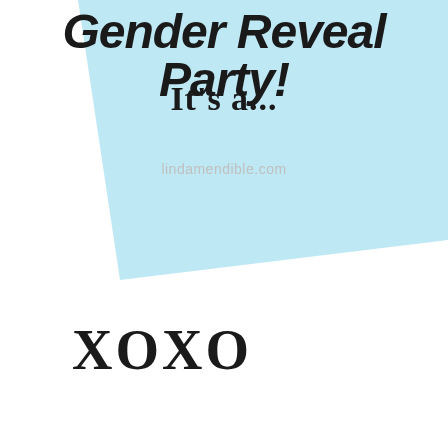[Figure (illustration): Light blue parallelogram/banner shape in the upper portion of the page serving as background for the title text]
Gender Reveal Party!
It's a...
lindamendible.com
XOXO